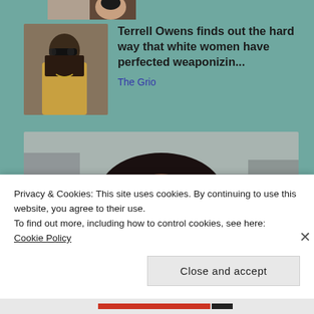[Figure (photo): Partial image strip at top of page, cropped]
[Figure (photo): Thumbnail photo of Terrell Owens wearing sunglasses and a gold jacket]
Terrell Owens finds out the hard way that white women have perfected weaponizin...
The Grio
[Figure (photo): Large photo of a smiling Black woman with braided hair and glasses]
Privacy & Cookies: This site uses cookies. By continuing to use this website, you agree to their use.
To find out more, including how to control cookies, see here:
Cookie Policy
Close and accept